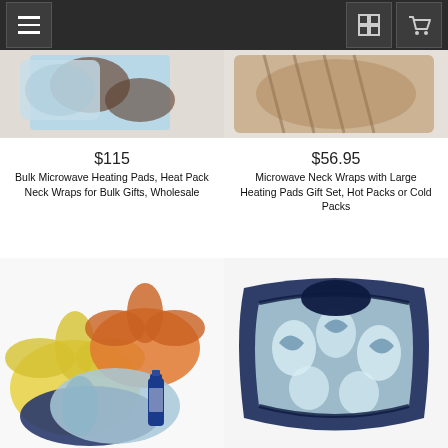Navigation bar with menu, grid view, and cart icons
[Figure (photo): Top portion of Bulk Microwave Heating Pads product - colorful floral fabric heat packs on white background]
[Figure (photo): Top portion of Microwave Neck Wraps product - brown/tan patterned neck wrap on white background]
$115
$56.95
Bulk Microwave Heating Pads, Heat Pack Neck Wraps for Bulk Gifts, Wholesale
Microwave Neck Wraps with Large Heating Pads Gift Set, Hot Packs or Cold Packs
[Figure (photo): Colorful floral patterned eye pillows/heating pads in yellow, orange, blue patterns with a small blue glass bottle]
[Figure (photo): Navy and light blue swirl pattern neck wrap/heating pad folded and displayed on white background]